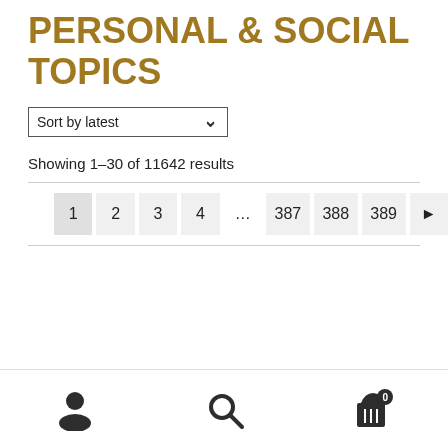PERSONAL & SOCIAL TOPICS
Sort by latest
Showing 1–30 of 11642 results
1 2 3 4 … 387 388 389 ▶